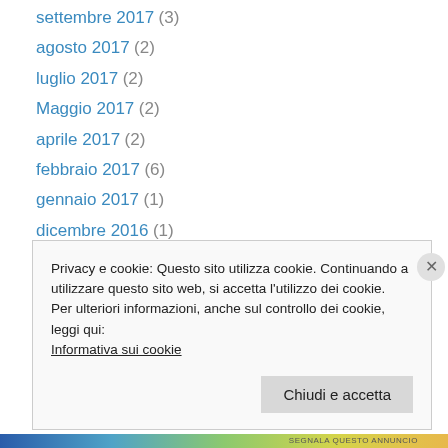settembre 2017 (3)
agosto 2017 (2)
luglio 2017 (2)
Maggio 2017 (2)
aprile 2017 (2)
febbraio 2017 (6)
gennaio 2017 (1)
dicembre 2016 (1)
novembre 2016 (3)
ottobre 2016 (1)
settembre 2016 (4)
luglio 2016 (4)
giugno 2016 (2)
Privacy e cookie: Questo sito utilizza cookie. Continuando a utilizzare questo sito web, si accetta l’utilizzo dei cookie.
Per ulteriori informazioni, anche sul controllo dei cookie, leggi qui:
Informativa sui cookie
Chiudi e accetta